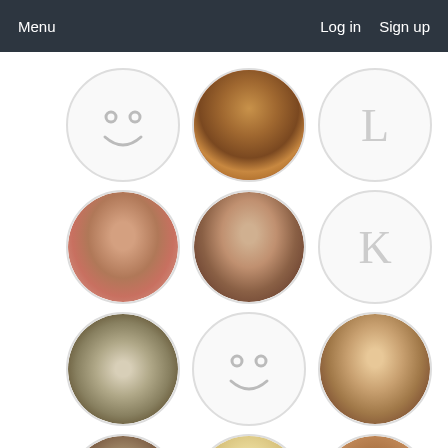Menu    Log in   Sign up
[Figure (screenshot): A grid of 15 user profile avatar circles in 3 columns and 5 rows. Row 1: smiley face placeholder, woman with curly brown hair photo, letter L placeholder. Row 2: woman with glasses photo, woman with dark hair photo, letter K placeholder. Row 3: group photo, smiley face placeholder, Asian woman photo. Row 4: woman with glasses photo, cartoon/illustration of bald man, woman with brown hair photo. Row 5: smiley face placeholder, man with beard and glasses photo, letter L placeholder.]